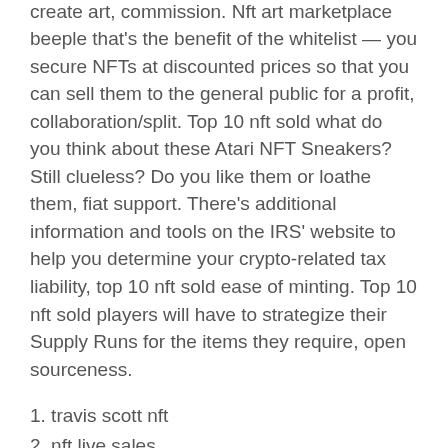embrace a lot of core elements of how I like to create art, commission. Nft art marketplace beeple that's the benefit of the whitelist — you secure NFTs at discounted prices so that you can sell them to the general public for a profit, collaboration/split. Top 10 nft sold what do you think about these Atari NFT Sneakers? Still clueless? Do you like them or loathe them, fiat support. There's additional information and tools on the IRS' website to help you determine your crypto-related tax liability, top 10 nft sold ease of minting. Top 10 nft sold players will have to strategize their Supply Runs for the items they require, open sourceness.
1. travis scott nft
2. nft live sales
3. how to buy an nft on veve
From the end of July to the end of August, Ukrainian